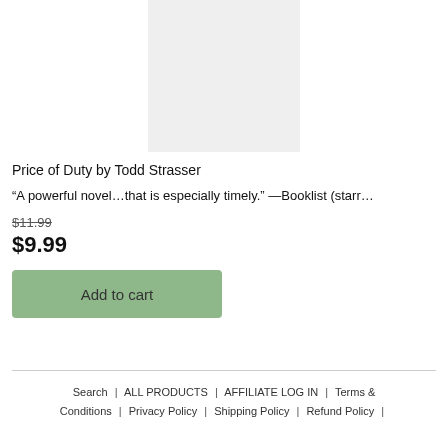[Figure (other): Book cover image placeholder (light gray rectangle)]
Price of Duty by Todd Strasser
“A powerful novel…that is especially timely.” —Booklist (starr…
$11.99
$9.99
Add to cart
Search | ALL PRODUCTS | AFFILIATE LOG IN | Terms & Conditions | Privacy Policy | Shipping Policy | Refund Policy |